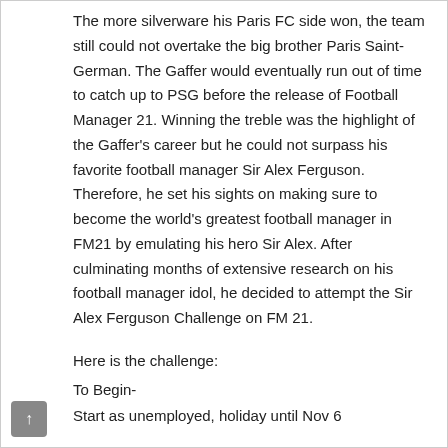The more silverware his Paris FC side won, the team still could not overtake the big brother Paris Saint-German. The Gaffer would eventually run out of time to catch up to PSG before the release of Football Manager 21. Winning the treble was the highlight of the Gaffer's career but he could not surpass his favorite football manager Sir Alex Ferguson. Therefore, he set his sights on making sure to become the world's greatest football manager in FM21 by emulating his hero Sir Alex. After culminating months of extensive research on his football manager idol, he decided to attempt the Sir Alex Ferguson Challenge on FM 21.
Here is the challenge:
To Begin-
Start as unemployed, holiday until Nov 6